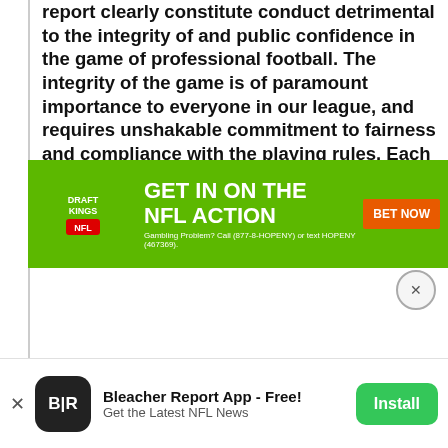report clearly constitute conduct detrimental to the integrity of and public confidence in the game of professional football. The integrity of the game is of paramount importance to everyone in our league, and requires unshakable commitment to fairness and compliance with the playing rules. Each player, no matter how accomplished and otherwise respected, has an obligation to comply with the rules and must be held accountable for his actions
[Figure (other): DraftKings NFL advertisement banner: 'GET IN ON THE NFL ACTION' with BET NOW button and gambling disclaimer text]
Bleacher Report App - Free! Get the Latest NFL News